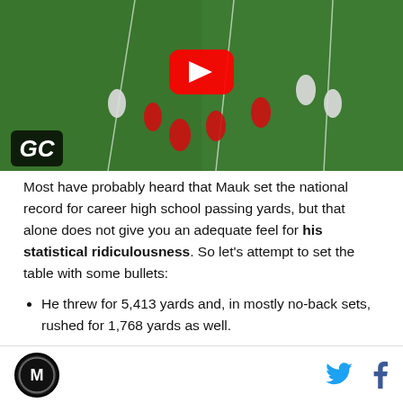[Figure (screenshot): YouTube video thumbnail of a football game showing players on a green field with yard lines. A large red YouTube play button is centered. A GC logo watermark appears in the bottom-left corner of the video.]
Most have probably heard that Mauk set the national record for career high school passing yards, but that alone does not give you an adequate feel for his statistical ridiculousness. So let's attempt to set the table with some bullets:
He threw for 5,413 yards and, in mostly no-back sets, rushed for 1,768 yards as well.
M logo | Twitter icon | Facebook icon